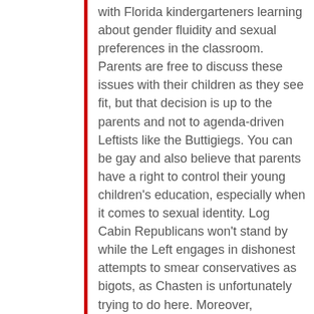with Florida kindergarteners learning about gender fluidity and sexual preferences in the classroom. Parents are free to discuss these issues with their children as they see fit, but that decision is up to the parents and not to agenda-driven Leftists like the Buttigiegs. You can be gay and also believe that parents have a right to control their young children's education, especially when it comes to sexual identity. Log Cabin Republicans won't stand by while the Left engages in dishonest attempts to smear conservatives as bigots, as Chasten is unfortunately trying to do here. Moreover, Buttigieg's misrepresentation of the Trevor Project study, which does not mention anything about pre-adolescent children, is